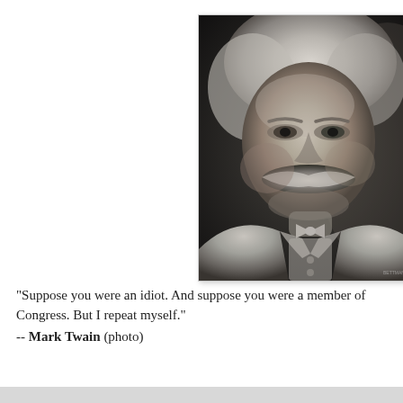[Figure (photo): Black and white portrait photograph of Mark Twain, an elderly man with white wavy hair and a large white mustache, wearing a light-colored suit with a bow tie, looking directly at the camera against a dark background.]
"Suppose you were an idiot. And suppose you were a member of Congress. But I repeat myself."
-- Mark Twain (photo)